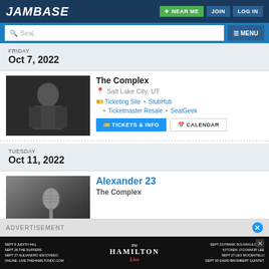JamBase | NEAR ME | JOIN | LOG IN
Search | MENU
FRIDAY
Oct 7, 2022
[Figure (photo): Black and white photo of a male artist with long hair wearing a black shirt]
The Complex
Salt Lake City, UT
Ticketing Site · StubHub · Ticketmaster Resale · SeatGeek
TICKETS & INFO | CALENDAR
TUESDAY
Oct 11, 2022
[Figure (photo): Black and white photo of a microphone]
Alexander 23
The Complex
ADVERTISEMENT
[Figure (photo): The Hamilton Live advertisement banner showing upcoming shows including Judith Hill, The Suffers, Alejandro Escovedo, Frank Solivan & Dirty Kitchen, O'Connor Lee, Leo Mocentelli, David Brombert Quintet]